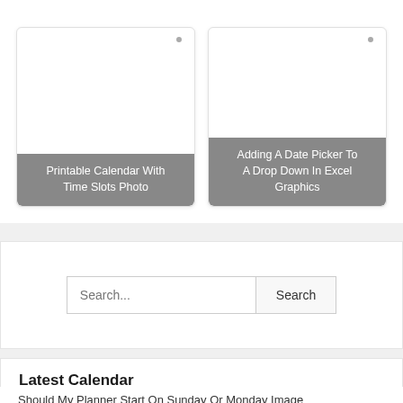[Figure (screenshot): Card thumbnail with dot — Printable Calendar With Time Slots Photo]
Printable Calendar With Time Slots Photo
[Figure (screenshot): Card thumbnail with dot — Adding A Date Picker To A Drop Down In Excel Graphics]
Adding A Date Picker To A Drop Down In Excel Graphics
Search...
Latest Calendar
Should My Planner Start On Sunday Or Monday Image